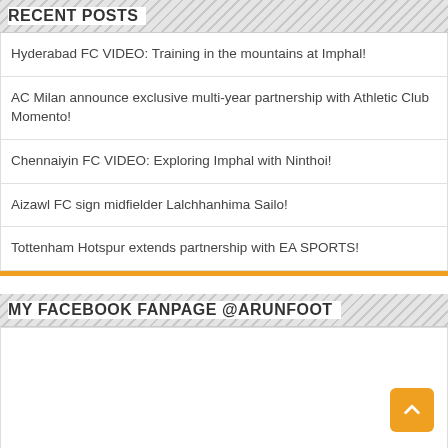RECENT POSTS
Hyderabad FC VIDEO: Training in the mountains at Imphal!
AC Milan announce exclusive multi-year partnership with Athletic Club Momento!
Chennaiyin FC VIDEO: Exploring Imphal with Ninthoi!
Aizawl FC sign midfielder Lalchhanhima Sailo!
Tottenham Hotspur extends partnership with EA SPORTS!
MY FACEBOOK FANPAGE @ARUNFOOT
[Figure (other): Facebook fanpage embed area (empty white box)]